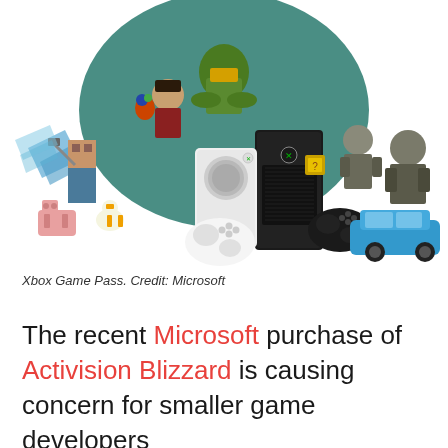[Figure (illustration): Xbox Game Pass promotional image showing Xbox Series X and Series S consoles with controllers, surrounded by game characters including Master Chief from Halo, Minecraft characters, a pirate character, soldiers from Gears of War, a blue sports car from Forza, and other Xbox game characters against a white background with teal circular backdrop.]
Xbox Game Pass. Credit: Microsoft
The recent Microsoft purchase of Activision Blizzard is causing concern for smaller game developers